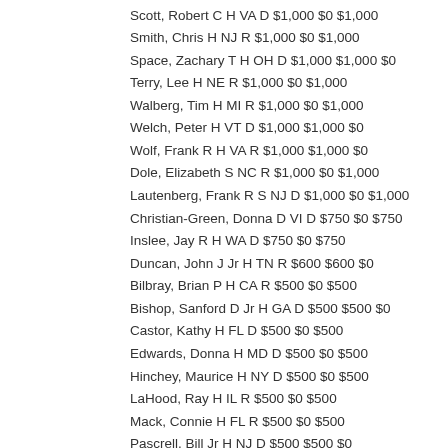Scott, Robert C H VA D $1,000 $0 $1,000
Smith, Chris H NJ R $1,000 $0 $1,000
Space, Zachary T H OH D $1,000 $1,000 $0
Terry, Lee H NE R $1,000 $0 $1,000
Walberg, Tim H MI R $1,000 $0 $1,000
Welch, Peter H VT D $1,000 $1,000 $0
Wolf, Frank R H VA R $1,000 $1,000 $0
Dole, Elizabeth S NC R $1,000 $0 $1,000
Lautenberg, Frank R S NJ D $1,000 $0 $1,000
Christian-Green, Donna D VI D $750 $0 $750
Inslee, Jay R H WA D $750 $0 $750
Duncan, John J Jr H TN R $600 $600 $0
Bilbray, Brian P H CA R $500 $0 $500
Bishop, Sanford D Jr H GA D $500 $500 $0
Castor, Kathy H FL D $500 $0 $500
Edwards, Donna H MD D $500 $0 $500
Hinchey, Maurice H NY D $500 $0 $500
LaHood, Ray H IL R $500 $0 $500
Mack, Connie H FL R $500 $0 $500
Pascrell, Bill Jr H NJ D $500 $500 $0
Pickering, Charles "Chip" Jr H MS R $500 $500 $0
Rehberg, Denny H MT R $500 $0 $500
Sarbanes, John H MD D $500 $0 $500